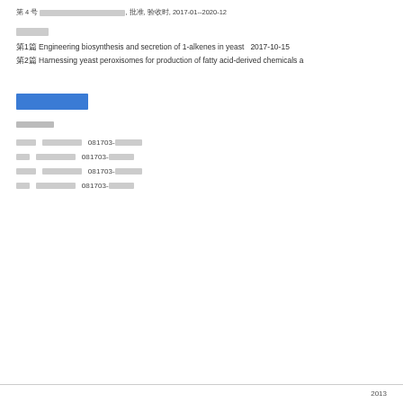第 4 号 国家重点研发计划项目, 批准, 验收时, 2017-01--2020-12
论文情况
第1篇 Engineering biosynthesis and secretion of 1-alkenes in yeast   2017-10-15
第2篇 Harnessing yeast peroxisomes for production of fatty acid-derived chemicals a
知识产权
发明专利情况
申请人  发明人名称  081703-[redacted]
联系  发明人名称  081703-[redacted]
申请人  发明人名称  081703-[redacted]
联系  发明人名称  081703-[redacted]
2013